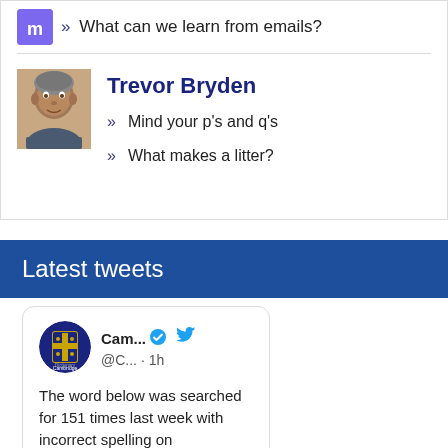» What can we learn from emails?
[Figure (photo): Headshot photo of Trevor Bryden, older man]
Trevor Bryden
» Mind your p's and q's
» What makes a litter?
Latest tweets
[Figure (screenshot): Tweet from Cambridge Dictionary (@C...) posted 1h ago with Cambridge Dictionary logo avatar and verified badge, blue Twitter bird icon. Text: The word below was searched for 151 times last week with incorrect spelling on #Cambridge Dictionary. What is the]
The word below was searched for 151 times last week with incorrect spelling on #Cambridge Dictionary. What is the